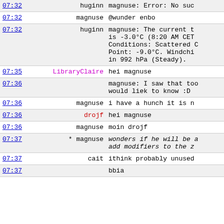| time | user | message |
| --- | --- | --- |
| 07:32 | huginn | magnuse: Error: No suc |
| 07:32 | magnuse | @wunder enbo |
| 07:32 | huginn | magnuse: The current t is -3.0°C (8:20 AM CET Conditions: Scattered C Point: -9.0°C. Windchi in 992 hPa (Steady). |
| 07:35 | LibraryClaire | hei magnuse |
| 07:36 |  | magnuse: I saw that too would liek to know :D |
| 07:36 | magnuse | i have a hunch it is n |
| 07:36 | drojf | hei magnuse |
| 07:36 | magnuse | moin drojf |
| 07:37 | * magnuse | wonders if he will be add modifiers to the z |
| 07:37 | cait | ithink probably unused |
| 07:37 |  | bbia |